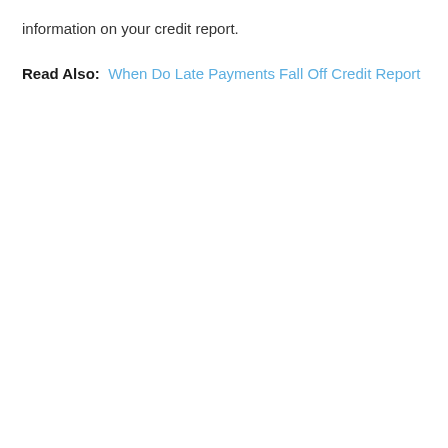information on your credit report.
Read Also:  When Do Late Payments Fall Off Credit Report